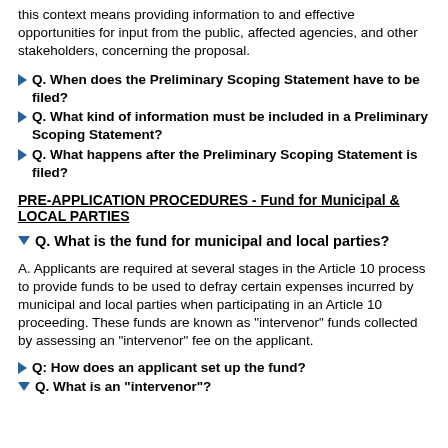this context means providing information to and effective opportunities for input from the public, affected agencies, and other stakeholders, concerning the proposal.
Q. When does the Preliminary Scoping Statement have to be filed?
Q. What kind of information must be included in a Preliminary Scoping Statement?
Q. What happens after the Preliminary Scoping Statement is filed?
PRE-APPLICATION PROCEDURES - Fund for Municipal & LOCAL PARTIES
Q. What is the fund for municipal and local parties?
A. Applicants are required at several stages in the Article 10 process to provide funds to be used to defray certain expenses incurred by municipal and local parties when participating in an Article 10 proceeding. These funds are known as "intervenor" funds collected by assessing an "intervenor" fee on the applicant.
Q: How does an applicant set up the fund?
Q. What is an "intervenor"?